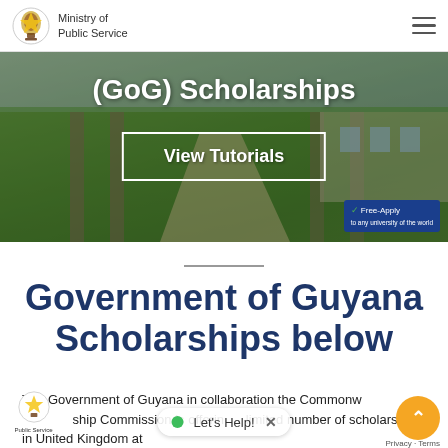Ministry of Public Service
[Figure (screenshot): Hero banner image showing an outdoor walkway/garden with text '(GoG) Scholarships' and a 'View Tutorials' button, overlaid on a green landscaped background. A 'Free-Apply' badge appears bottom right.]
Government of Guyana Scholarships below
The Government of Guyana in collaboration the Commonwealth ship Commission is offering limited number of scholarships in United Kingdom at